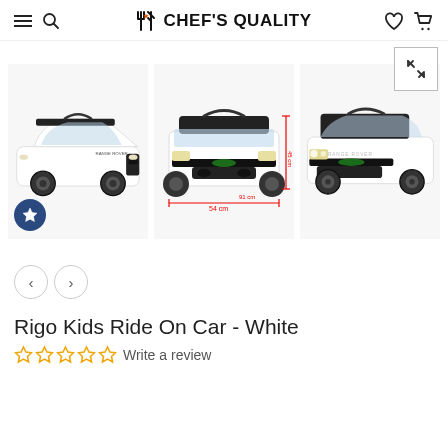Chef's Quality — navigation header with hamburger, search, logo, heart, and cart icons
[Figure (photo): Three product photos of a white Rigo Kids Ride On Car: left side angle view, front view with dimension markings (54cm width, 45cm height, 91cm length), and right front-angle view]
Rigo Kids Ride On Car - White
Write a review (5 empty stars rating)